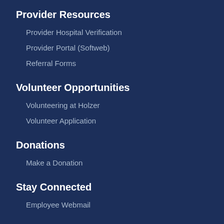Provider Resources
Provider Hospital Verification
Provider Portal (Softweb)
Referral Forms
Volunteer Opportunities
Volunteering at Holzer
Volunteer Application
Donations
Make a Donation
Stay Connected
Employee Webmail